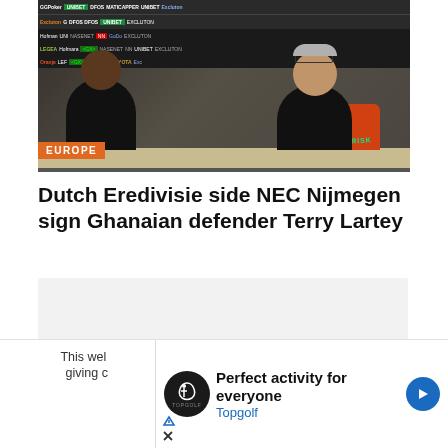[Figure (photo): Two men seated at a table signing documents with a NEC Nijmegen orange and green jersey displayed. Sponsor banners visible in the background. An 'EUROPE' badge is shown in the lower-left of the photo.]
Dutch Eredivisie side NEC Nijmegen sign Ghanaian defender Terry Lartey
[Figure (screenshot): Advertisement placeholder area with a large close (X) button in the top-right corner.]
This web  you are giving c Cookie
[Figure (other): Topgolf advertisement banner: 'Perfect activity for everyone' with Topgolf logo and a blue arrow icon.]